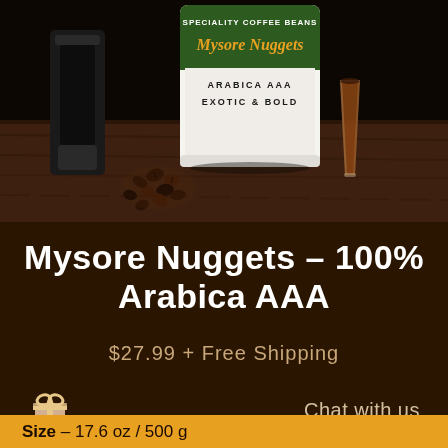[Figure (photo): Product photo of Mysore Nuggets Speciality Coffee Beans bag (Arabica AAA, Exotic & Bold) with a glass of dark coffee and scattered coffee beans on a wooden surface]
Mysore Nuggets - 100% Arabica AAA
$27.99 + Free Shipping
Chat with us
Size - 17.6 oz / 500 g